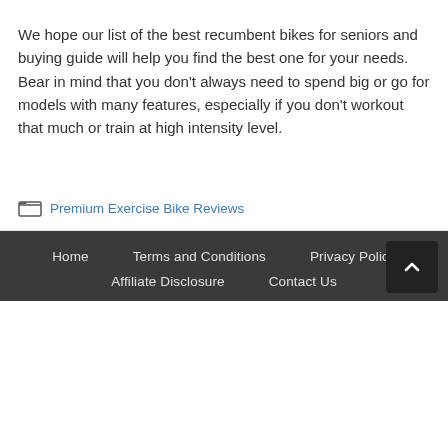We hope our list of the best recumbent bikes for seniors and buying guide will help you find the best one for your needs. Bear in mind that you don't always need to spend big or go for models with many features, especially if you don't workout that much or train at high intensity level.
Categories: Premium Exercise Bike Reviews
Home   Terms and Conditions   Privacy Policy   Affiliate Disclosure   Contact Us